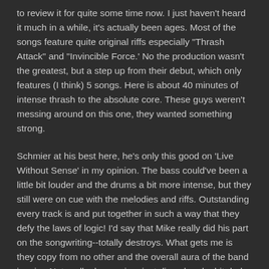to review it for quite some time now.  I just haven't heard it much in a while, it's actually been ages.  Most of the songs feature quite original riffs especially "Thrash Attack" and "Invincible Force.'  No the production wasn't the greatest, but a step up from their debut, which only features (I think) 5 songs.  Here is about 40 minutes of intense thrash to the absolute core.  These guys weren't messing around on this one, they wanted something strong.
Schmier at his best here, he's only this good on 'Live Without Sense' in my opinion.  The bass could've been a little bit louder and the drums a bit more intense, but they still were on cue with the melodies and riffs.  Outstanding every track is and put together in such a way that they defy the laws of logic!  I'd say that Mike really did his part on the songwriting--totally destroys.  What gets me is they copy from no other and the overall aura of the band is grim.  Not really depressing, just dismal and a bit dark.  This goes with the album concept though.  Their whole makeup here is deserving of recognition because they totally kick ass.  This is what thrash metal should sound like, raw and uncompromising.